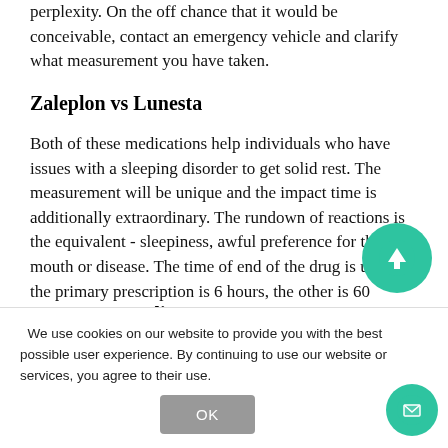perplexity. On the off chance that it would be conceivable, contact an emergency vehicle and clarify what measurement you have taken.
Zaleplon vs Lunesta
Both of these medications help individuals who have issues with a sleeping disorder to get solid rest. The measurement will be unique and the impact time is additionally extraordinary. The rundown of reactions is the equivalent - sleepiness, awful preference for the mouth or disease. The time of end of the drug is unique: the primary prescription is 6 hours, the other is 60 minutes.
Buy Sonata online
with dozing and his physician prescribes taking Sonata at that point...
We use cookies on our website to provide you with the best possible user experience. By continuing to use our website or services, you agree to their use.